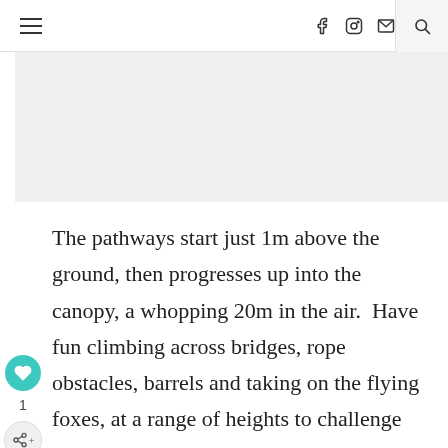≡   f  ⊙  ✉  🔍
[Figure (photo): Light grey rectangular image placeholder area]
The pathways start just 1m above the ground, then progresses up into the canopy, a whopping 20m in the air.  Have fun climbing across bridges, rope obstacles, barrels and taking on the flying foxes, at a range of heights to challenge